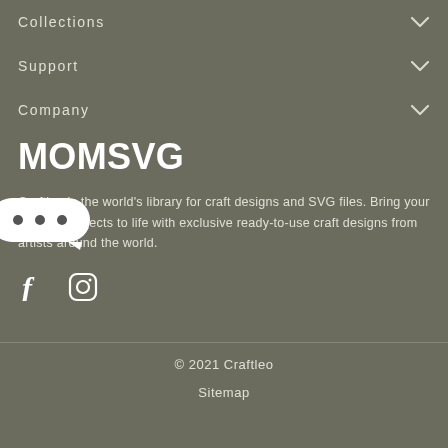Collections
Support
Company
[Figure (illustration): White rounded speech/tooltip bubble with three dots (ellipsis) inside, indicating a loading or menu indicator]
MOMSVG
Craftleo is the world’s library for craft designs and SVG files. Bring your creative projects to life with exclusive ready-to-use craft designs from artists around the world.
[Figure (illustration): Social media icons: Facebook (f) and Instagram (circle with rounded square and dot)]
© 2021 Craftleo
Sitemap